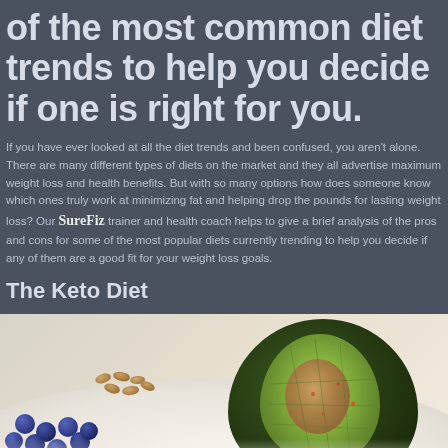of the most common diet trends to help you decide if one is right for you.
If you have ever looked at all the diet trends and been confused, you aren't alone. There are many different types of diets on the market and they all advertise maximum weight loss and health benefits. But with so many options how does someone know which ones truly work at minimizing fat and helping drop the pounds for lasting weight loss? Our SureFiz trainer and health coach helps to give a brief analysis of the pros and cons for some of the most popular diets currently trending to help you decide if any of them are a good fit for your weight loss goals.
The Keto Diet
[Figure (photo): Photo of a halved avocado, almonds/nuts, and blueberries on a white plate — keto-friendly foods]